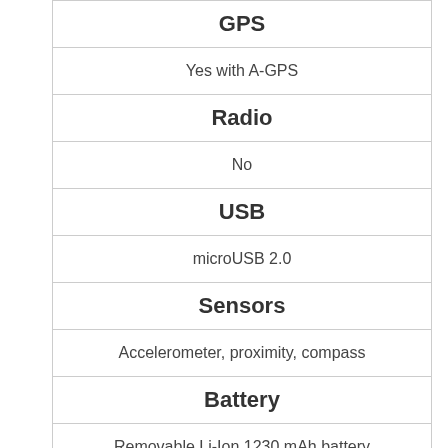| Category | Value |
| --- | --- |
| GPS | Yes with A-GPS |
| Radio | No |
| USB | microUSB 2.0 |
| Sensors | Accelerometer, proximity, compass |
| Battery | Removable Li-Ion 1230 mAh battery |